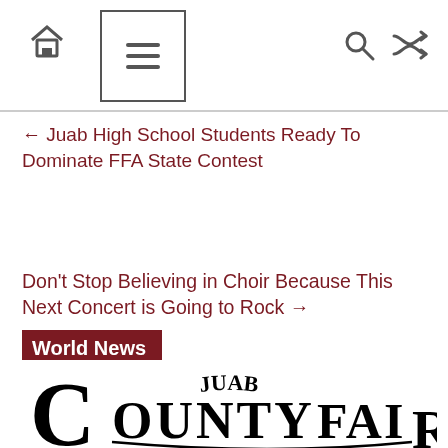Navigation bar with home, menu, search, and shuffle icons
← Juab High School Students Ready To Dominate FFA State Contest
Don't Stop Believing in Choir Because This Next Concert is Going to Rock →
World News
[Figure (logo): Juab County Fair logo in black decorative western-style lettering]